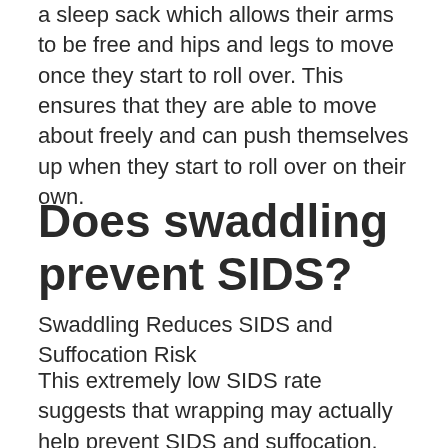a sleep sack which allows their arms to be free and hips and legs to move once they start to roll over. This ensures that they are able to move about freely and can push themselves up when they start to roll over on their own.
Does swaddling prevent SIDS?
Swaddling Reduces SIDS and Suffocation Risk
This extremely low SIDS rate suggests that wrapping may actually help prevent SIDS and suffocation. Australian doctors also found that swaddled babies (sleeping on the back) were 1/3 less likely to die from SIDS